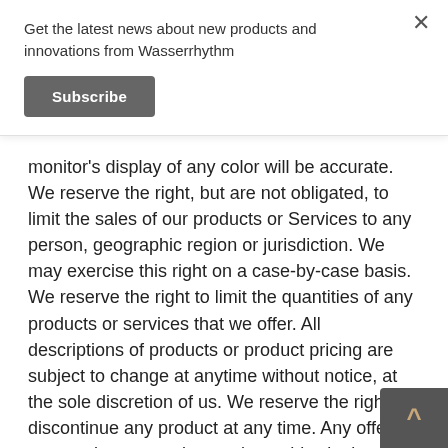Get the latest news about new products and innovations from Wasserrhythm
Subscribe
monitor's display of any color will be accurate. We reserve the right, but are not obligated, to limit the sales of our products or Services to any person, geographic region or jurisdiction. We may exercise this right on a case-by-case basis. We reserve the right to limit the quantities of any products or services that we offer. All descriptions of products or product pricing are subject to change at anytime without notice, at the sole discretion of us. We reserve the right to discontinue any product at any time. Any offer for any product or service made on this site is void where prohibited.
We do not warrant that the quality of any products, services, information, or other material purchased or obtained by you will meet your expectations, or that any